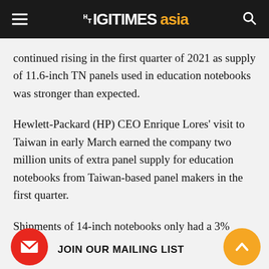DIGITIMES asia
continued rising in the first quarter of 2021 as supply of 11.6-inch TN panels used in education notebooks was stronger than expected.
Hewlett-Packard (HP) CEO Enrique Lores' visit to Taiwan in early March earned the company two million units of extra panel supply for education notebooks from Taiwan-based panel makers in the first quarter.
Shipments of 14-inch notebooks only had a 3% sequential drop in the first quarter as brands turned to adopt 14-inch panels, which were priced similar to 11.6-in... to satisfy some of the orders.